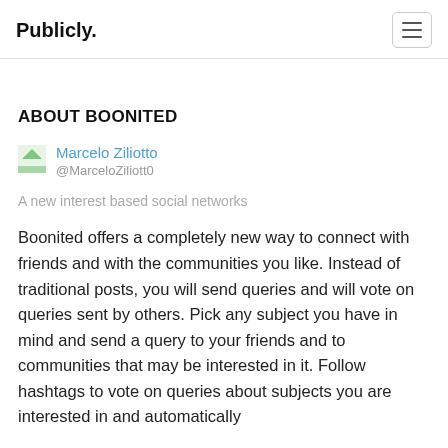Publicly.
ABOUT BOONITED
Marcelo Ziliotto
@MarceloZiliott0
A new interest based social networks
Boonited offers a completely new way to connect with friends and with the communities you like. Instead of traditional posts, you will send queries and will vote on queries sent by others. Pick any subject you have in mind and send a query to your friends and to communities that may be interested in it. Follow hashtags to vote on queries about subjects you are interested in and automatically